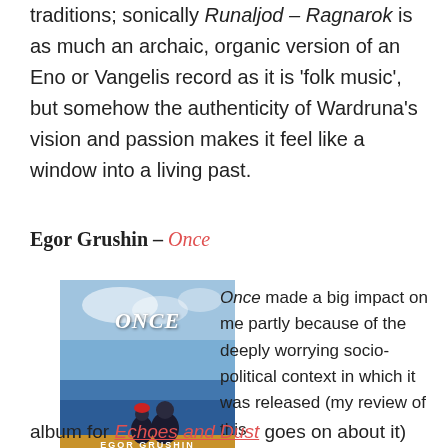traditions; sonically Runaljod – Ragnarok is as much an archaic, organic version of an Eno or Vangelis record as it is 'folk music', but somehow the authenticity of Wardruna's vision and passion makes it feel like a window into a living past.
Egor Grushin – Once
[Figure (photo): Album cover for 'Once' by Egor Grushin. Blue sky and seascape background with two figures sitting together, one wearing a red hat. White bold italic text 'ONCE' at top, 'EGOR GRUSHIN' in small caps at bottom.]
Once made a big impact on me partly because of the deeply worrying socio-political context in which it was released (my review of this
album for Echoes and Dust goes on about it)